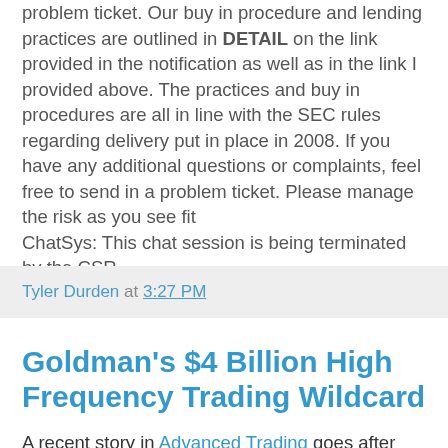problem ticket. Our buy in procedure and lending practices are outlined in DETAIL on the link provided in the notification as well as in the link I provided above. The practices and buy in procedures are all in line with the SEC rules regarding delivery put in place in 2008. If you have any additional questions or complaints, feel free to send in a problem ticket. Please manage the risk as you see fit
ChatSys: This chat session is being terminated by the CSR
Tyler Durden at 3:27 PM
Goldman's $4 Billion High Frequency Trading Wildcard
A recent story in Advanced Trading goes after some of the minutae of High Frequency Trading and provides a glimpse of the total value that HFT may provide to behemoth PT